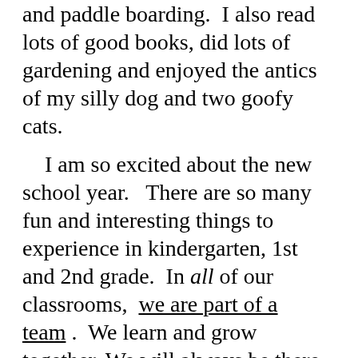and paddle boarding.  I also read lots of good books, did lots of gardening and enjoyed the antics of my silly dog and two goofy cats.
I am so excited about the new school year.   There are so many fun and interesting things to experience in kindergarten, 1st and 2nd grade.  In all of our classrooms,  we are part of a team .  We learn and grow together. We will always be there to help each other along the way.  You will have plenty of time to get to know your new classmates, how to think and act positively with each other, and how to work together to solve problems.  We will be sure to make just all kinds